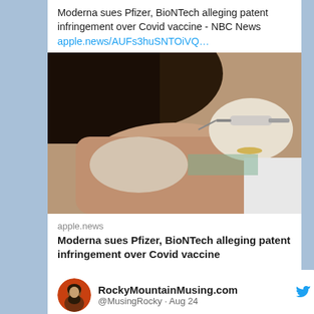Moderna sues Pfizer, BioNTech alleging patent infringement over Covid vaccine - NBC News apple.news/AUFs3huSNTOiVQ...
[Figure (photo): A healthcare worker administering a vaccine injection to a patient's arm.]
apple.news
Moderna sues Pfizer, BioNTech alleging patent infringement over Covid vaccine
RockyMountainMusing.com @MusingRocky · Aug 24
I normally avoid ad-hominem attacks, but I